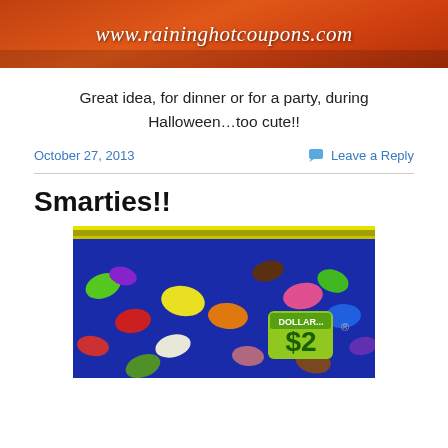[Figure (photo): Website header image for www.raininghotcoupons.com with orange/red background and italic cursive white URL text]
Great idea, for dinner or for a party, during Halloween…too cute!!
October 27, 2013
Leave a Reply
Smarties!!
[Figure (photo): Photo of a bag of Smarties candy with colorful candy pieces visible and a green $2 Dollar price sticker]